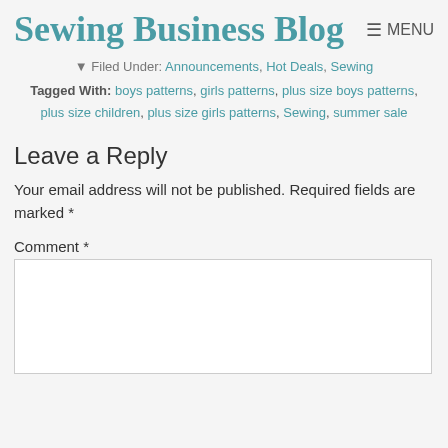Sewing Business Blog  ☰ MENU
Filed Under: Announcements, Hot Deals, Sewing
Tagged With: boys patterns, girls patterns, plus size boys patterns, plus size children, plus size girls patterns, Sewing, summer sale
Leave a Reply
Your email address will not be published. Required fields are marked *
Comment *